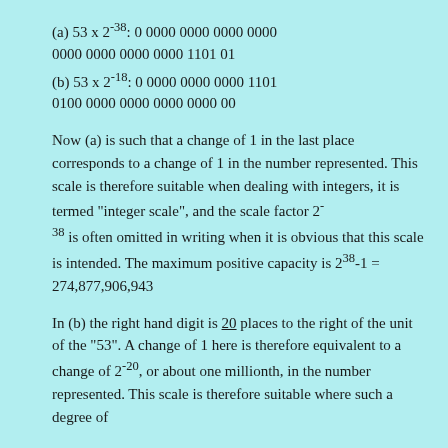(a) 53 x 2^-38: 0 0000 0000 0000 0000 0000 0000 0000 0000 1101 01
(b) 53 x 2^-18: 0 0000 0000 0000 1101 0100 0000 0000 0000 0000 00
Now (a) is such that a change of 1 in the last place corresponds to a change of 1 in the number represented. This scale is therefore suitable when dealing with integers, it is termed "integer scale", and the scale factor 2^-38 is often omitted in writing when it is obvious that this scale is intended. The maximum positive capacity is 2^38-1 = 274,877,906,943
In (b) the right hand digit is 20 places to the right of the unit of the "53". A change of 1 here is therefore equivalent to a change of 2^-20, or about one millionth, in the number represented. This scale is therefore suitable where such a degree of